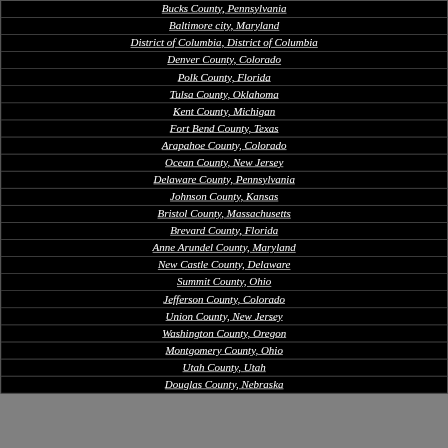| County |
| --- |
| Bucks County, Pennsylvania |
| Baltimore city, Maryland |
| District of Columbia, District of Columbia |
| Denver County, Colorado |
| Polk County, Florida |
| Tulsa County, Oklahoma |
| Kent County, Michigan |
| Fort Bend County, Texas |
| Arapahoe County, Colorado |
| Ocean County, New Jersey |
| Delaware County, Pennsylvania |
| Johnson County, Kansas |
| Bristol County, Massachusetts |
| Brevard County, Florida |
| Anne Arundel County, Maryland |
| New Castle County, Delaware |
| Summit County, Ohio |
| Jefferson County, Colorado |
| Union County, New Jersey |
| Washington County, Oregon |
| Montgomery County, Ohio |
| Utah County, Utah |
| Douglas County, Nebraska |